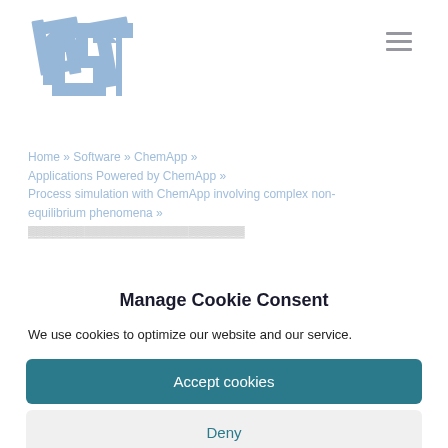[Figure (logo): Blue angular GT logo mark in top left corner]
Home » Software » ChemApp » Applications Powered by ChemApp » Process simulation with ChemApp involving complex non-equilibrium phenomena »
Manage Cookie Consent
We use cookies to optimize our website and our service.
Accept cookies
Deny
View preferences